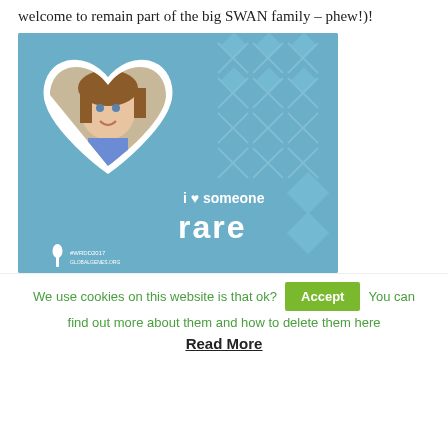welcome to remain part of the big SWAN family – phew!)!
[Figure (photo): A young girl with brown hair sitting in a wheelchair, smiling, shown within a heart-shaped frame on a blue background. The image has text 'i ♥ someone rare' and '#WRDD2017 GLOBALGENES.ORG' with a logo.]
We use cookies on this website is that ok? Accept You can find out more about them and how to delete them here Read More